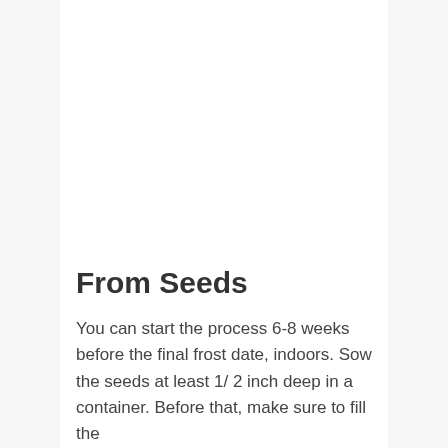From Seeds
You can start the process 6-8 weeks before the final frost date, indoors. Sow the seeds at least 1/ 2 inch deep in a container. Before that, make sure to fill the container with a soil potting mix that